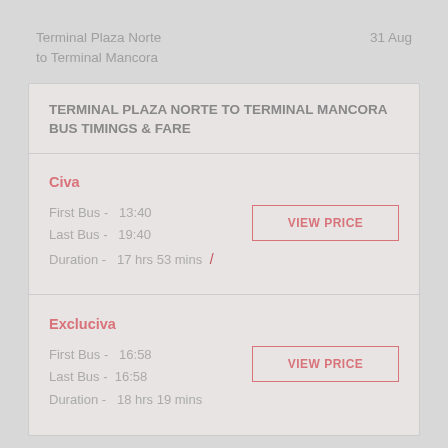Terminal Plaza Norte to Terminal Mancora
31 Aug
TERMINAL PLAZA NORTE TO TERMINAL MANCORA BUS TIMINGS & FARE
Civa
First Bus -  13:40
Last Bus -  19:40
Duration -  17 hrs 53 mins
VIEW PRICE
Excluciva
First Bus -  16:58
Last Bus -  16:58
Duration -  18 hrs 19 mins
VIEW PRICE